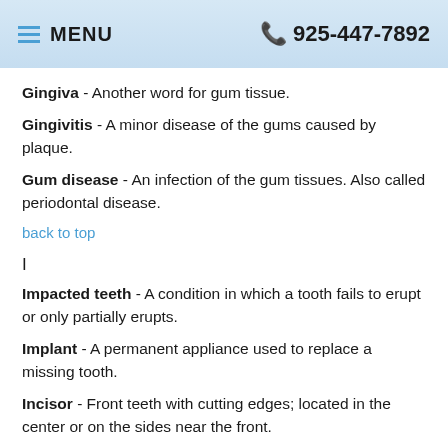MENU  925-447-7892
Gingiva - Another word for gum tissue.
Gingivitis - A minor disease of the gums caused by plaque.
Gum disease - An infection of the gum tissues. Also called periodontal disease.
back to top
I
Impacted teeth - A condition in which a tooth fails to erupt or only partially erupts.
Implant - A permanent appliance used to replace a missing tooth.
Incisor - Front teeth with cutting edges; located in the center or on the sides near the front.
Inlay - An artificial filling made of various materials